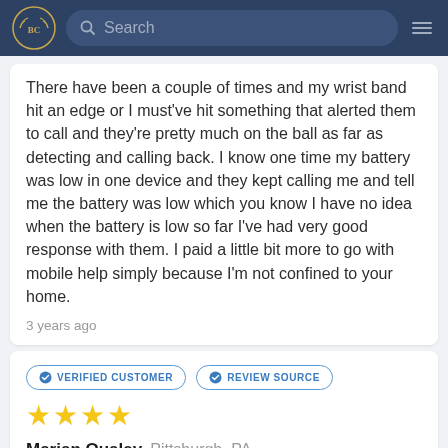BC [logo] Search [hamburger menu]
There have been a couple of times and my wrist band hit an edge or I must've hit something that alerted them to call and they're pretty much on the ball as far as detecting and calling back. I know one time my battery was low in one device and they kept calling me and tell me the battery was low which you know I have no idea when the battery is low so far I've had very good response with them. I paid a little bit more to go with mobile help simply because I'm not confined to your home.
3 years ago
VERIFIED CUSTOMER
REVIEW SOURCE
★★★★
Marian Qualey  Pittsburgh, PA